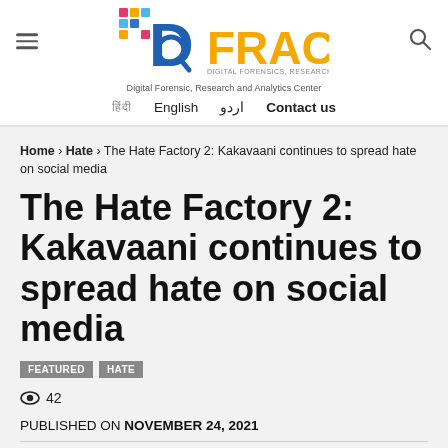[Figure (logo): DFRAC logo with magnifying glass and colorful squares, and text 'FRAC' in orange]
Digital Forensic, Research and Analytics Center
हिंदी  English  اردو  Contact us
Home › Hate › The Hate Factory 2: Kakavaani continues to spread hate on social media
The Hate Factory 2: Kakavaani continues to spread hate on social media
FEATURED  HATE
42
PUBLISHED ON NOVEMBER 24, 2021